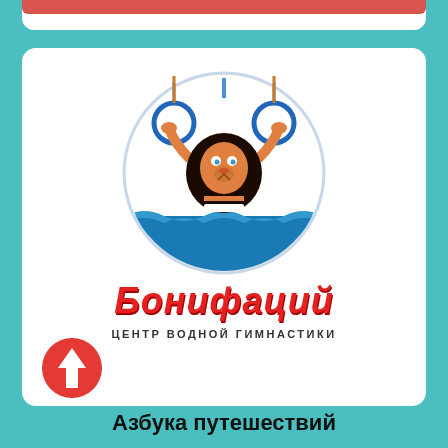[Figure (logo): Бонифаций - центр водной гимнастики logo: a cartoon lion holding gymnastics rings, standing in water, inside a circle. Red text 'Бонифаций' below, subtitle 'ЦЕНТР ВОДНОЙ ГИМНАСТИКИ']
[Figure (illustration): Red circle with white upward arrow icon]
Азбука путешествий